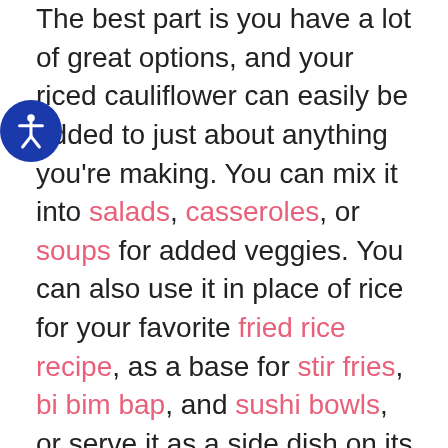The best part is you have a lot of great options, and your riced cauliflower can easily be added to just about anything you're making. You can mix it into salads, casseroles, or soups for added veggies. You can also use it in place of rice for your favorite fried rice recipe, as a base for stir fries, bi bim bap, and sushi bowls, or serve it as a side dish on its own!
There are three main ways to whip up your cauliflower rice – in the microwave, on the stovetop, or in the oven.
COOK CAULIFLOWER RICE IN THE MICROWAVE
When you need a quick side for dinner